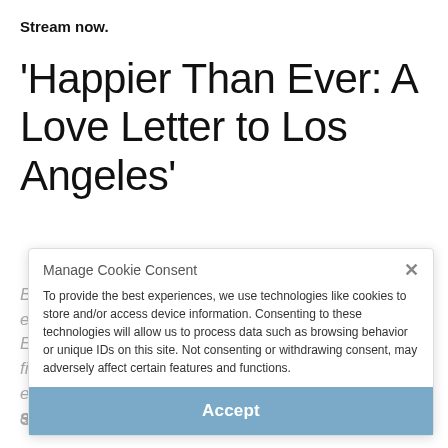Stream now.
'Happier Than Ever: A Love Letter to Los Angeles'
Billie Eilish treated her fans to a one-of-a-kind experience with her Disney+ exclusive, Happier Than Ever: A Love Letter to Los Angeles. "It's a concert film, but it's also a story at the same time," she explained in the trailer, which you can check out, above.
Manage Cookie Consent
To provide the best experiences, we use technologies like cookies to store and/or access device information. Consenting to these technologies will allow us to process data such as browsing behavior or unique IDs on this site. Not consenting or withdrawing consent, may adversely affect certain features and functions.
Accept
Cookie Policy
Stream now.